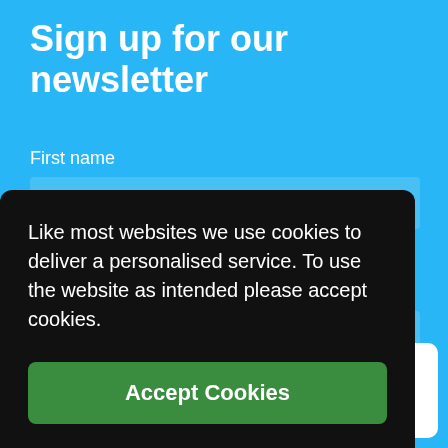Sign up for our newsletter
First name
Last name
Like most websites we use cookies to deliver a personalised service. To use the website as intended please accept cookies.
Accept Cookies